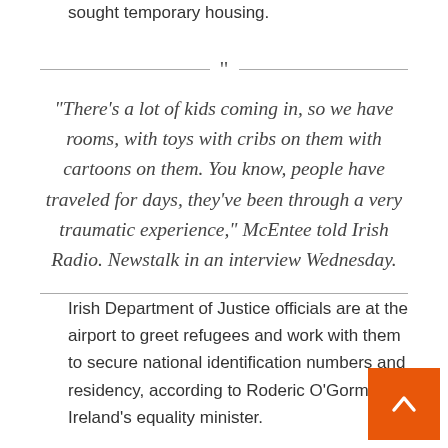sought temporary housing.
“There’s a lot of kids coming in, so we have rooms, with toys with cribs on them with cartoons on them. You know, people have traveled for days, they’ve been through a very traumatic experience,” McEntee told Irish Radio. Newstalk in an interview Wednesday.
Irish Department of Justice officials are at the airport to greet refugees and work with them to secure national identification numbers and residency, according to Roderic O’Gorman, Ireland’s equality minister.